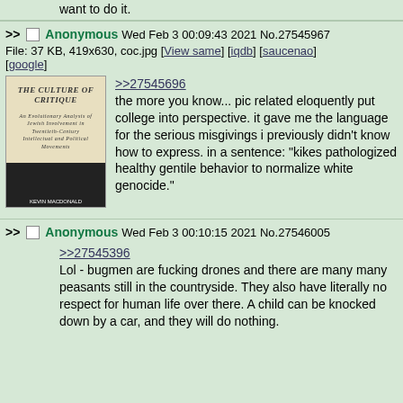want to do it.
>> Anonymous Wed Feb 3 00:09:43 2021 No.27545967
File: 37 KB, 419x630, coc.jpg [View same] [iqdb] [saucenao] [google]
[Figure (photo): Book cover of 'The Culture of Critique' by Kevin MacDonald]
>>27545696
the more you know... pic related eloquently put college into perspective. it gave me the language for the serious misgivings i previously didn't know how to express. in a sentence: "kikes pathologized healthy gentile behavior to normalize white genocide."
>> Anonymous Wed Feb 3 00:10:15 2021 No.27546005
>>27545396
Lol - bugmen are fucking drones and there are many many peasants still in the countryside. They also have literally no respect for human life over there. A child can be knocked down by a car, and they will do nothing.